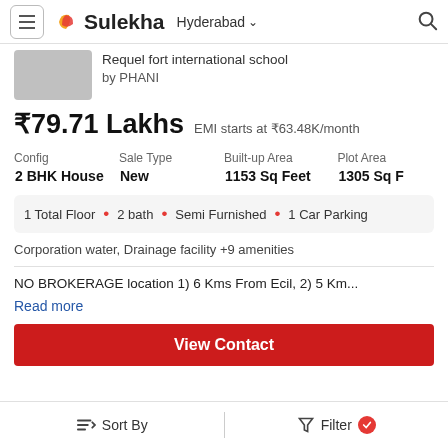Sulekha — Hyderabad
[Figure (screenshot): Sulekha real estate listing page for a 2 BHK House near Requel fort international school]
Requel fort international school
by PHANI
₹79.71 Lakhs   EMI starts at ₹63.48K/month
| Config | Sale Type | Built-up Area | Plot Area |
| --- | --- | --- | --- |
| 2 BHK House | New | 1153 Sq Feet | 1305 Sq F |
1 Total Floor  •  2 bath  •  Semi Furnished  •  1 Car Parking
Corporation water, Drainage facility +9 amenities
NO BROKERAGE location 1) 6 Kms From Ecil, 2) 5 Km...
Read more
View Contact
Sort By   Filter